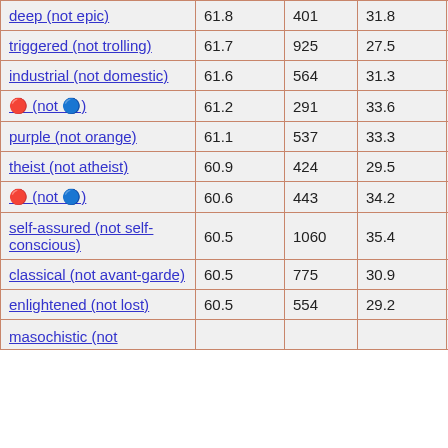|  |  |  |  |  |
| --- | --- | --- | --- | --- |
| deep (not epic) | 61.8 | 401 | 31.8 | 87 |
| triggered (not trolling) | 61.7 | 925 | 27.5 | 43 |
| industrial (not domestic) | 61.6 | 564 | 31.3 | 49 |
| ? (not ?) | 61.2 | 291 | 33.6 | 43 |
| purple (not orange) | 61.1 | 537 | 33.3 | 62 |
| theist (not atheist) | 60.9 | 424 | 29.5 | 40 |
| ? (not ?) | 60.6 | 443 | 34.2 | 67 |
| self-assured (not self-conscious) | 60.5 | 1060 | 35.4 | 48 |
| classical (not avant-garde) | 60.5 | 775 | 30.9 | 53 |
| enlightened (not lost) | 60.5 | 554 | 29.2 | 59 |
| masochistic (not ... |  |  |  |  |